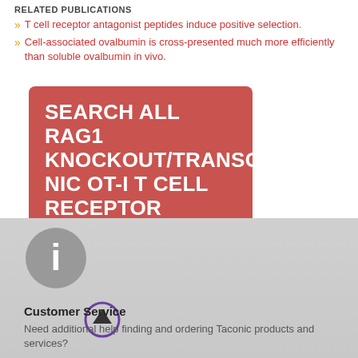RELATED PUBLICATIONS
T cell receptor antagonist peptides induce positive selection.
Cell-associated ovalbumin is cross-presented much more efficiently than soluble ovalbumin in vivo.
[Figure (other): Red button/box with text: SEARCH ALL RAG1 KNOCKOUT/TRANSGENIC OT-I T CELL RECEPTOR PUBLICATIONS]
[Figure (infographic): Gray background section with info icon (gray circle with 'i'), up arrow icon (purple circle), Customer Service heading, and text: Need additional help finding and ordering Taconic products and services?]